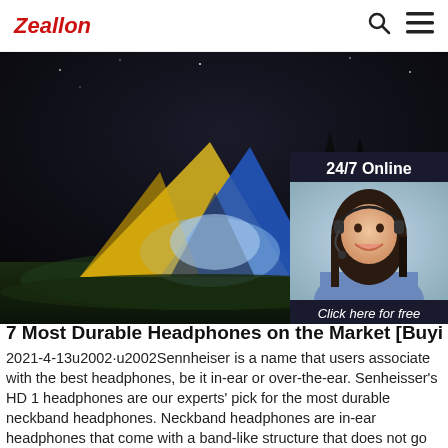Zeallon
[Figure (photo): Night camping scene with illuminated colorful tent (blue and yellow) glowing from inside, set against a dark night sky with trees in the background. Overlaid with a 24/7 Online chat widget showing a woman with a headset, a 'Click here for free chat!' message, and an orange QUOTATION button.]
7 Most Durable Headphones on the Market [Buying Guide
2021-4-13u2002·u2002Sennheiser is a name that users associate with the best headphones, be it in-ear or over-the-ear. Senheisser's HD 1 headphones are our experts' pick for the most durable neckband headphones. Neckband headphones are in-ear headphones that come with a band-like structure that does not go on top of your head but around your neck.